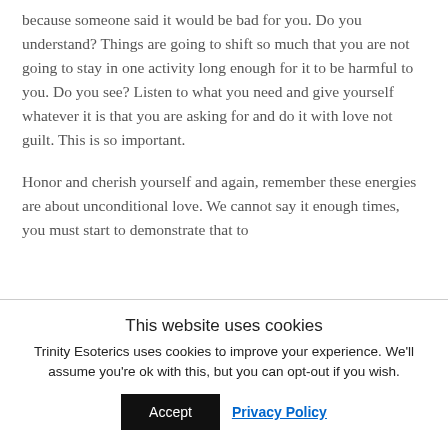because someone said it would be bad for you. Do you understand? Things are going to shift so much that you are not going to stay in one activity long enough for it to be harmful to you. Do you see? Listen to what you need and give yourself whatever it is that you are asking for and do it with love not guilt. This is so important.
Honor and cherish yourself and again, remember these energies are about unconditional love. We cannot say it enough times, you must start to demonstrate that to
This website uses cookies
Trinity Esoterics uses cookies to improve your experience. We'll assume you're ok with this, but you can opt-out if you wish.
Accept   Privacy Policy